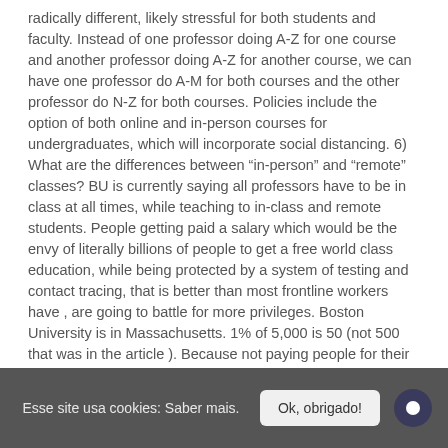radically different, likely stressful for both students and faculty. Instead of one professor doing A-Z for one course and another professor doing A-Z for another course, we can have one professor do A-M for both courses and the other professor do N-Z for both courses. Policies include the option of both online and in-person courses for undergraduates, which will incorporate social distancing. 6) What are the differences between “in-person” and “remote” classes? BU is currently saying all professors have to be in class at all times, while teaching to in-class and remote students. People getting paid a salary which would be the envy of literally billions of people to get a free world class education, while being protected by a system of testing and contact tracing, that is better than most frontline workers have , are going to battle for more privileges. Boston University is in Massachusetts. 1% of 5,000 is 50 (not 500 that was in the article ). Because not paying people for their labour is wrong. You have the endowment funds. Hundreds at BU are already losing their jobs, how many more will lose their jobs if students don’t come back as is expected if we were online only? “If this approach is adopted by BU, professors and teaching assistants in each department can decide who will…
Esse site usa cookies: Saber mais. Ok, obrigado!